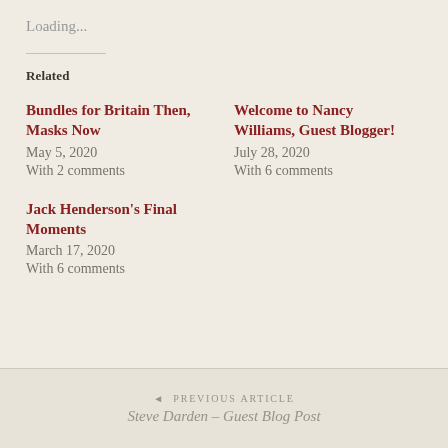Loading...
Related
Bundles for Britain Then, Masks Now
May 5, 2020
With 2 comments
Welcome to Nancy Williams, Guest Blogger!
July 28, 2020
With 6 comments
Jack Henderson's Final Moments
March 17, 2020
With 6 comments
◄ PREVIOUS ARTICLE
Steve Darden – Guest Blog Post